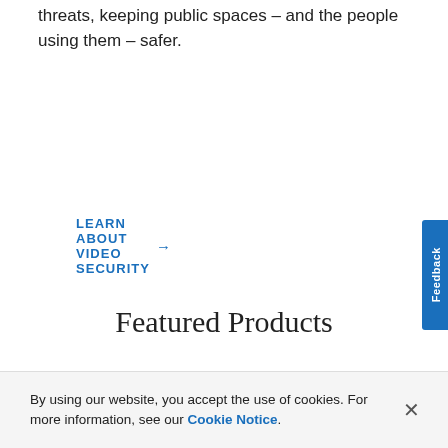threats, keeping public spaces – and the people using them – safer.
LEARN ABOUT VIDEO SECURITY →
Featured Products
By using our website, you accept the use of cookies. For more information, see our Cookie Notice.